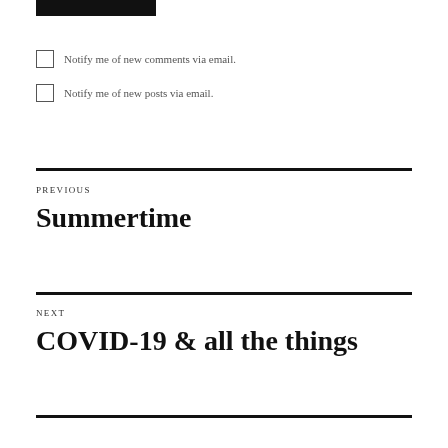[Figure (photo): Partial dark/black image at top left corner]
Notify me of new comments via email.
Notify me of new posts via email.
PREVIOUS
Summertime
NEXT
COVID-19 & all the things